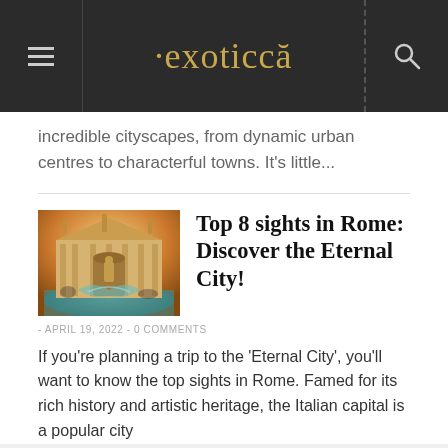exoticca
incredible cityscapes, from dynamic urban centres to characterful towns. It's little...
[Figure (photo): Photo of Trevi Fountain in Rome, warmly lit at dusk]
Top 8 sights in Rome: Discover the Eternal City!
- APRIL 19, 2022 - 0 COMMENTS
If you're planning a trip to the 'Eternal City', you'll want to know the top sights in Rome. Famed for its rich history and artistic heritage, the Italian capital is a popular city